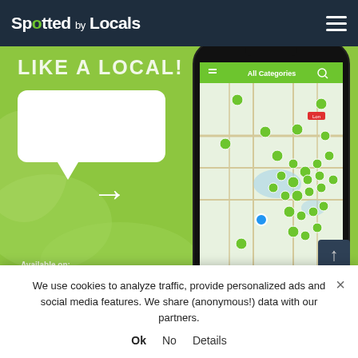Spotted by Locals
[Figure (screenshot): Mobile app screenshot showing a map with green location pins for Spotted by Locals app over a city map, with 'All Categories' header bar]
[Figure (illustration): Green promotional banner with text 'LIKE A LOCAL?' and white speech bubble with arrow pointing to phone mockup showing app map. Text 'Available on:' at bottom left.]
SEE SPOTS NEARBY
GET OUR 100% OFFLINE
We use cookies to analyze traffic, provide personalized ads and social media features. We share (anonymous!) data with our partners.
Ok  No  Details